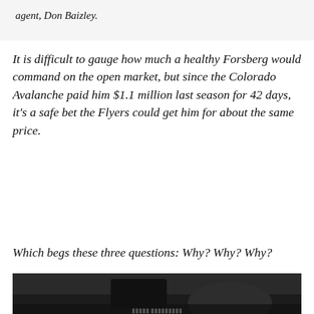agent, Don Baizley.
It is difficult to gauge how much a healthy Forsberg would command on the open market, but since the Colorado Avalanche paid him $1.1 million last season for 42 days, it's a safe bet the Flyers could get him for about the same price.
Which begs these three questions: Why? Why? Why?
[Figure (photo): AD placeholder box (gray background) with 'AD' label in top right, followed by a dark photo showing a person in a car holding a phone, partially cropped.]